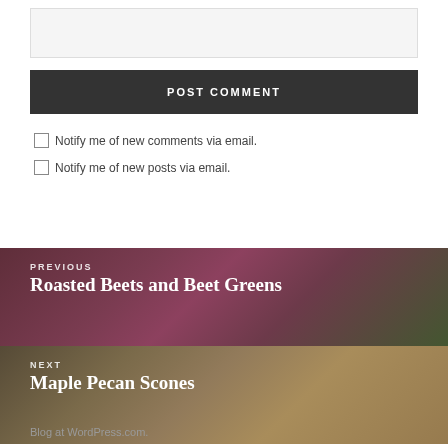[text input box]
POST COMMENT
Notify me of new comments via email.
Notify me of new posts via email.
PREVIOUS
Roasted Beets and Beet Greens
NEXT
Maple Pecan Scones
Blog at WordPress.com.